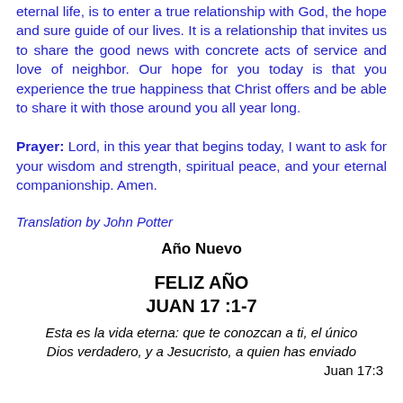eternal life, is to enter a true relationship with God, the hope and sure guide of our lives. It is a relationship that invites us to share the good news with concrete acts of service and love of neighbor. Our hope for you today is that you experience the true happiness that Christ offers and be able to share it with those around you all year long.
Prayer: Lord, in this year that begins today, I want to ask for your wisdom and strength, spiritual peace, and your eternal companionship. Amen.
Translation by John Potter
Año Nuevo
FELIZ AÑO
JUAN 17 :1-7
Esta es la vida eterna: que te conozcan a ti, el único Dios verdadero, y a Jesucristo, a quien has enviado
Juan 17:3